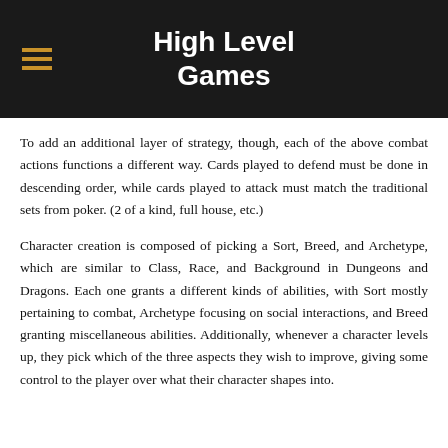High Level Games
To add an additional layer of strategy, though, each of the above combat actions functions a different way. Cards played to defend must be done in descending order, while cards played to attack must match the traditional sets from poker. (2 of a kind, full house, etc.)
Character creation is composed of picking a Sort, Breed, and Archetype, which are similar to Class, Race, and Background in Dungeons and Dragons. Each one grants a different kinds of abilities, with Sort mostly pertaining to combat, Archetype focusing on social interactions, and Breed granting miscellaneous abilities. Additionally, whenever a character levels up, they pick which of the three aspects they wish to improve, giving some control to the player over what their character shapes into.